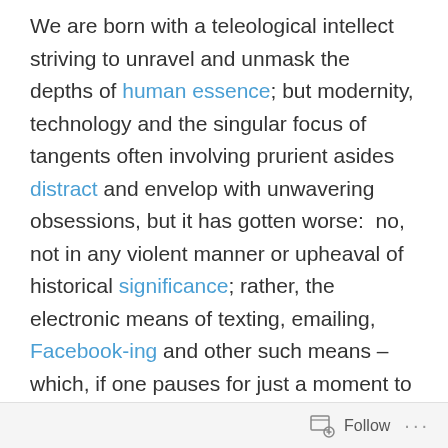We are born with a teleological intellect striving to unravel and unmask the depths of human essence; but modernity, technology and the singular focus of tangents often involving prurient asides distract and envelop with unwavering obsessions, but it has gotten worse:  no, not in any violent manner or upheaval of historical significance; rather, the electronic means of texting, emailing, Facebook-ing and other such means – which, if one pauses for just a moment to reflect, is merely a white page on a screen of illuminating blindness where symbols representing communicative ignorance are exchanged through the ethereal conduit of airwaves – give an artificial semblance of comfort that we are still engaging in the essential project of destined human activity:  getting to know one another
Follow ···